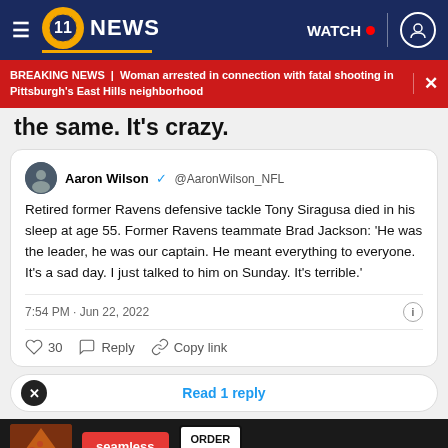11 NEWS | WATCH
BREAKING NEWS | Woman arrested in connection with fatal shooting in Pittsburgh's East Hills neighborhood
the same. It's crazy.
[Figure (screenshot): Embedded tweet from @AaronWilson_NFL: Retired former Ravens defensive tackle Tony Siragusa died in his sleep at age 55. Former Ravens teammate Brad Jackson: 'He was the leader, he was our captain. He meant everything to everyone. It's a sad day. I just talked to him on Sunday. It's terrible.']
7:54 PM · Jun 22, 2022
30  Reply  Copy link
Read 1 reply
[Figure (photo): Seamless food delivery advertisement with pizza image, ORDER NOW button]
Sirag...